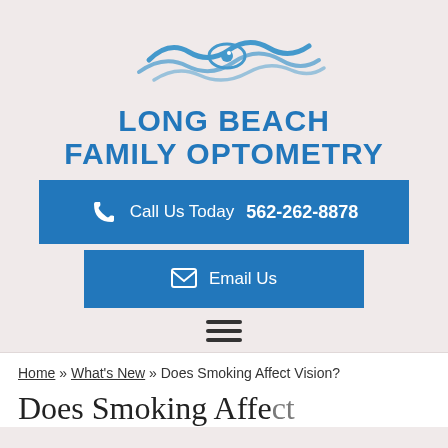[Figure (logo): Long Beach Family Optometry logo with stylized eye and wave design in blue]
LONG BEACH FAMILY OPTOMETRY
Call Us Today 562-262-8878
Email Us
Home » What's New » Does Smoking Affect Vision?
Does Smoking Affect Vision?